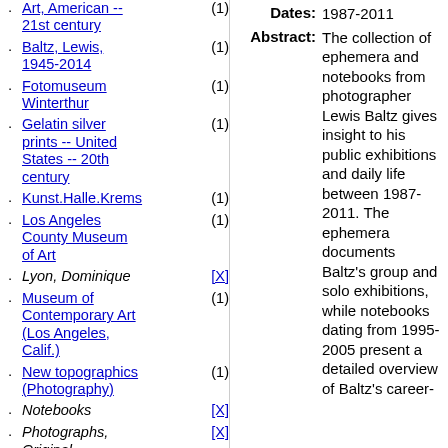Art, American -- 21st century (1)
Baltz, Lewis, 1945-2014 (1)
Fotomuseum Winterthur (1)
Gelatin silver prints -- United States -- 20th century (1)
Kunst.Halle.Krems (1)
Los Angeles County Museum of Art (1)
Lyon, Dominique [X]
Museum of Contemporary Art (Los Angeles, Calif.) (1)
New topographics (Photography) (1)
Notebooks [X]
Photographs, Original [X]
Printed ephemera (1)
Receipts (financial records) (1)
Rian, Jeffrey (1)
Dates: 1987-2011
Abstract: The collection of ephemera and notebooks from photographer Lewis Baltz gives insight to his public exhibitions and daily life between 1987-2011. The ephemera documents Baltz's group and solo exhibitions, while notebooks dating from 1995-2005 present a detailed overview of Baltz's career-